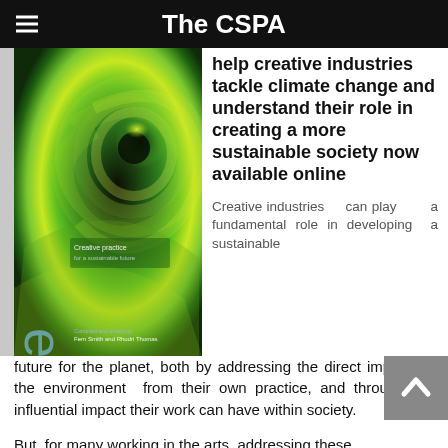The CSPA
[Figure (photo): Book cover of 'emergence' — a green swirling vortex design with the title 'emergence' in large pale blue letters vertically on the left, subtitle 'Creative practice for a sustainable future', compiled and edited by Fern Smith and Rhodri Thomas]
help creative industries tackle climate change and understand their role in creating a more sustainable society now available online
Creative industries can play a fundamental role in developing a sustainable future for the planet, both by addressing the direct impact on the environment from their own practice, and through the influential impact their work can have within society.
But for many working in the arts, addressing these